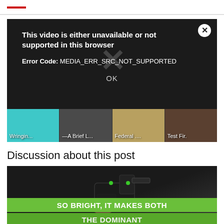[Figure (screenshot): Video player error dialog on black background showing: 'This video is either unavailable or not supported in this browser' with Error Code: MEDIA_ERR_SRC_NOT_SUPPORTED and OK button. Below are 4 video thumbnails labeled Wringin..., A Brief L..., Federal ..., Test Fir.]
Discussion about this post
[Figure (photo): Close-up photo of a black gun/pistol with green sights on top, held by a hand. Green banner at bottom reads 'SO BRIGHT, IT MAKES BOTH' and partially visible second line.]